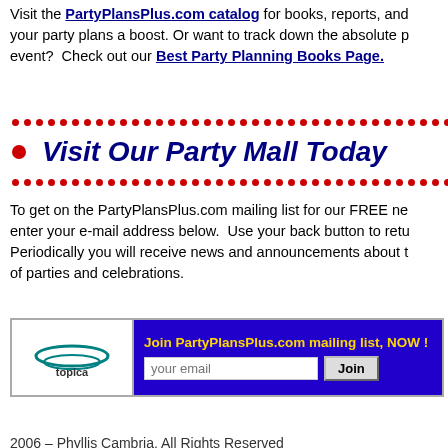Visit the PartyPlansPlus.com catalog for books, reports, and your party plans a boost. Or want to track down the absolute p event?  Check out our Best Party Planning Books Page.
[Figure (infographic): Decorative banner with red dots on top and bottom rows and italic dark blue bold text reading 'Visit Our Party Mall Today']
To get on the PartyPlansPlus.com mailing list for our FREE ne enter your e-mail address below.  Use your back button to retu Periodically you will receive news and announcements about t of parties and celebrations.
[Figure (screenshot): Topica mailing list signup box with Topica logo on left, purple background on right with yellow bold text 'Join PartyPlansPlus.com mailing list, NOW !' and an email input field and Join button]
Back to Home Page
2006 – Phyllis Cambria, All Rights Reserved